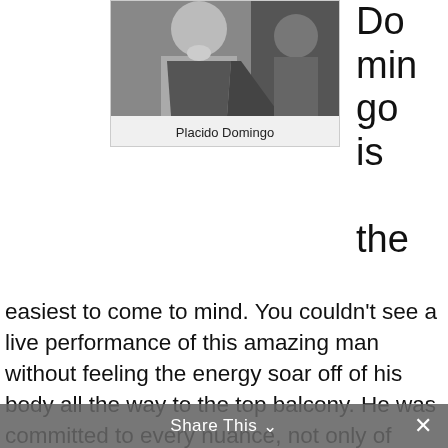[Figure (photo): Black and white photo of Placido Domingo, a man in a suit with hand near chin in a thoughtful pose]
Placido Domingo
Domingo is the easiest to come to mind. You couldn't see a live performance of this amazing man without feeling the energy soar off of his body all the way to the top balcony. He was committed to every nuance, not only of phrase, but of subtext and intention. People often speak of the imperfections in his high notes, but few cared. He loved his audience and connected with them and that is what they wanted. He was emotionally naked in front of them. It's important that singers understand that
Share This ∨  ✕